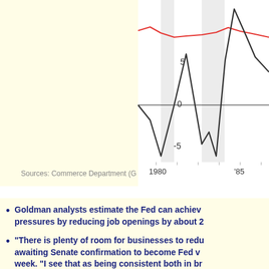[Figure (line-chart): Line chart showing two series (red and dark/black) from 1980 to beyond 1985. Red line stays mostly positive, ranging 5-10. Dark line is more volatile, dipping below -5 around 1981, spiking to ~4 in 1982, dropping to ~-5 in 1983-84, then rising to ~10 around 1984-85 before declining. Shaded recession bands visible around 1980 and 1982-83.]
Sources: Commerce Department (G
Goldman analysts estimate the Fed can achieve pressures by reducing job openings by about 2
“There is plenty of room for businesses to redu awaiting Senate confirmation to become Fed v week. “I see that as being consistent both in br